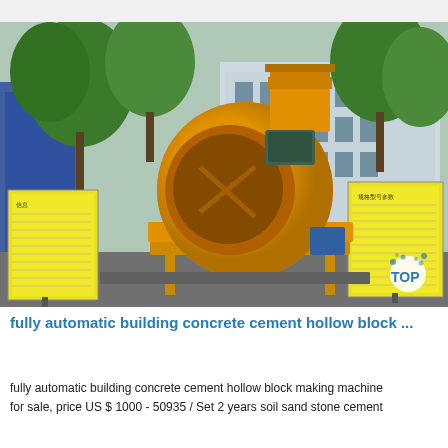[Figure (photo): Yellow concrete cement mixer machine on display outdoors, with trees and industrial building in background, and two yellow information boards on either side]
fully automatic building concrete cement hollow block ...
fully automatic building concrete cement hollow block making machine for sale, price US $ 1000 - 50935 / Set 2 years soil sand stone cement